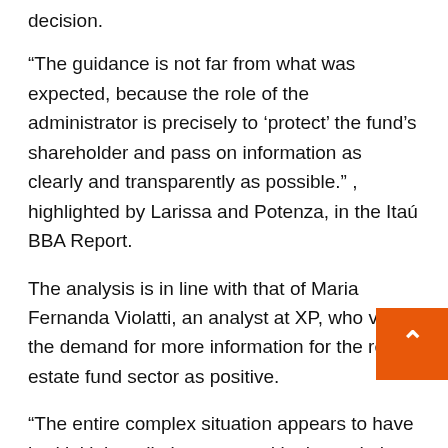decision.
“The guidance is not far from what was expected, because the role of the administrator is precisely to ‘protect’ the fund’s shareholder and pass on information as clearly and transparently as possible.” , highlighted by Larissa and Potenza, in the Itaú BBA Report.
The analysis is in line with that of Maria Fernanda Violatti, an analyst at XP, who views the demand for more information for the real estate fund sector as positive.
“The entire complex situation appears to have had initial media interest, and in the end, the decision brings ways to improve this information,” he analy… “The latest decision cancels any legal and especially